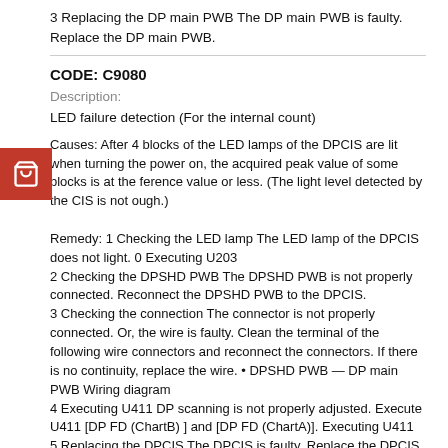3 Replacing the DP main PWB The DP main PWB is faulty. Replace the DP main PWB.
CODE: C9080
Description:
LED failure detection (For the internal count)
Causes: After 4 blocks of the LED lamps of the DPCIS are lit when turning the power on, the acquired peak value of some blocks is at the ference value or less. (The light level detected by the CIS is not ough.)
Remedy: 1 Checking the LED lamp The LED lamp of the DPCIS does not light. 0 Executing U203
2 Checking the DPSHD PWB The DPSHD PWB is not properly connected. Reconnect the DPSHD PWB to the DPCIS.
3 Checking the connection The connector is not properly connected. Or, the wire is faulty. Clean the terminal of the following wire connectors and reconnect the connectors. If there is no continuity, replace the wire. • DPSHD PWB — DP main PWB Wiring diagram
4 Executing U411 DP scanning is not properly adjusted. Execute U411 [DP FD (ChartB) ] and [DP FD (ChartA)]. Executing U411
5 Replacing the DPCIS The DPCIS is faulty. Replace the DPCIS, and then execute U091 and U411. Detaching and reattaching the DPCIS
6 Replacing the DPSHD PWB The DPSHD PWB is faulty. Replace the DPSHD PWB.